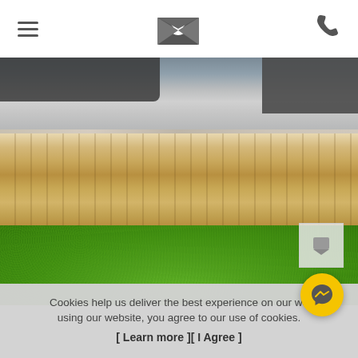Navigation header with hamburger menu, logo/envelope icon, and phone icon
[Figure (photo): Outdoor patio/garden photo showing grey tiled area with dark furniture at top, wooden deck boards in the middle, white pebble border strip, and bright green artificial grass lawn at bottom]
Cookies help us deliver the best experience on our we... using our website, you agree to our use of cookies.
[ Learn more ][ I Agree ]